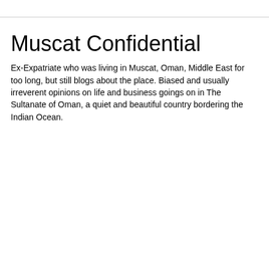Muscat Confidential
Ex-Expatriate who was living in Muscat, Oman, Middle East for too long, but still blogs about the place. Biased and usually irreverent opinions on life and business goings on in The Sultanate of Oman, a quiet and beautiful country bordering the Indian Ocean.
Wednesday, May 19, 2010
Part 2 of Muscat Confidential's exclusive interview with The United States Ambassador to the Sultanate of Oman.
The second part of our interview with Dr. Richard J...